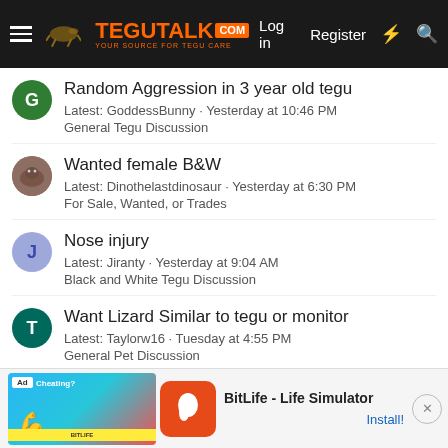TeguTalk.com — Log in | Register
Random Aggression in 3 year old tegu
Latest: GoddessBunny · Yesterday at 10:46 PM
General Tegu Discussion
Wanted female B&W
Latest: Dinothelastdinosaur · Yesterday at 6:30 PM
For Sale, Wanted, or Trades
Nose injury
Latest: Jiranty · Yesterday at 9:04 AM
Black and White Tegu Discussion
Want Lizard Similar to tegu or monitor
Latest: Taylorw16 · Tuesday at 4:55 PM
General Pet Discussion
Brumation and general pointers welcome!
Latest: Taylorw16 · Tuesday at 4:51 PM
General Tegu Discussion
[Figure (screenshot): Ad banner: BitLife - Life Simulator with Install button]